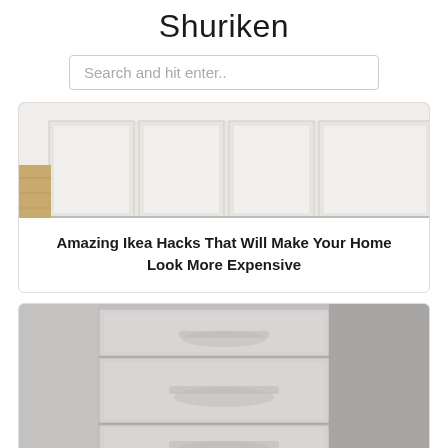Shuriken
[Figure (screenshot): Search bar with placeholder text 'Search and hit enter..']
[Figure (photo): Interior photo showing white built-in cabinets with paneled doors on a wooden floor]
Amazing Ikea Hacks That Will Make Your Home Look More Expensive
[Figure (photo): Close-up photo of a grey IKEA drawer unit with two drawers and a lock on the lower drawer]